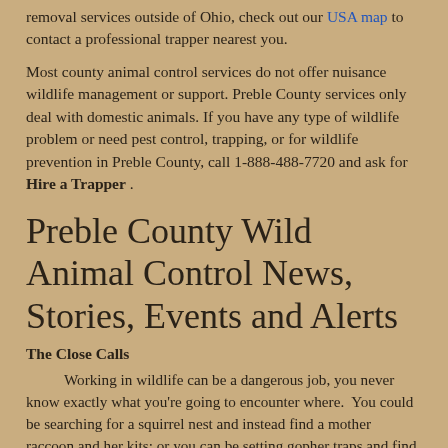removal services outside of Ohio, check out our USA map to contact a professional trapper nearest you.
Most county animal control services do not offer nuisance wildlife management or support. Preble County services only deal with domestic animals. If you have any type of wildlife problem or need pest control, trapping, or for wildlife prevention in Preble County, call 1-888-488-7720 and ask for Hire a Trapper .
Preble County Wild Animal Control News, Stories, Events and Alerts
The Close Calls
Working in wildlife can be a dangerous job, you never know exactly what you're going to encounter where.  You could be searching for a squirrel nest and instead find a mother raccoon and her kits; or you can be setting gopher traps and find an unbelievably large snake, the possibilities are endless. The trappers in our